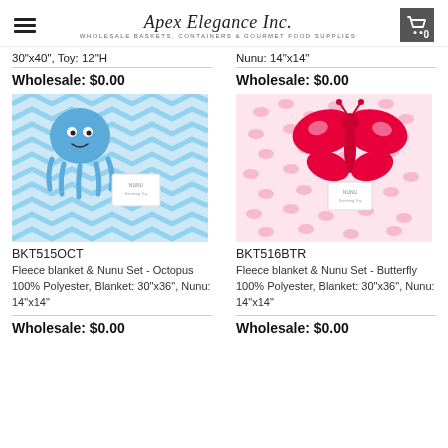Apex Elegance Inc. — WHOLESALE BASKETS, CONTAINERS & GOURMET FOOD SUPPLIES
30"x40", Toy: 12"H
Nunu: 14"x14"
Wholesale: $0.00
Wholesale: $0.00
[Figure (photo): Fleece blanket with blue chevron pattern and blue octopus plush toy (Nunu)]
[Figure (photo): Fleece blanket with pink butterfly pattern and red/pink butterfly plush toy (Nunu)]
BKT515OCT
BKT516BTR
Fleece blanket & Nunu Set - Octopus 100% Polyester, Blanket: 30"x36", Nunu: 14"x14"
Fleece blanket & Nunu Set - Butterfly 100% Polyester, Blanket: 30"x36", Nunu: 14"x14"
Wholesale: $0.00
Wholesale: $0.00